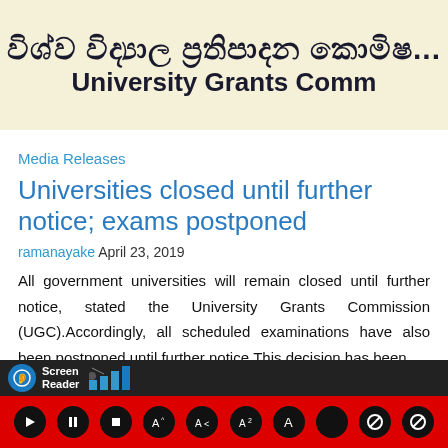[Figure (logo): University Grants Commission header banner with Sinhala script and English text on cream/yellow background]
Media Releases
Universities closed until further notice; exams postponed
ramanayake April 23, 2019
All government universities will remain closed until further notice, stated the University Grants Commission (UGC).Accordingly, all scheduled examinations have also been postponed until further notice.This decision has been
[Figure (screenshot): Screen Reader accessibility toolbar at bottom of page with red background and control buttons]